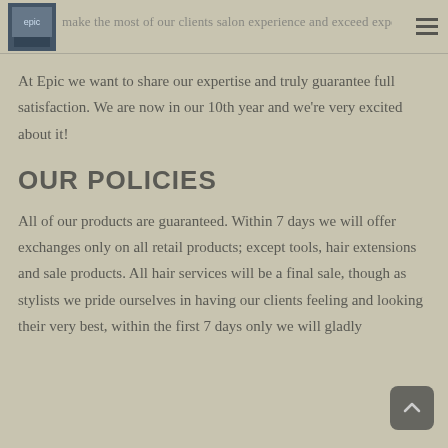make the most of our clients salon experience and exceed expectations.
At Epic we want to share our expertise and truly guarantee full satisfaction. We are now in our 10th year and we're very excited about it!
OUR POLICIES
All of our products are guaranteed. Within 7 days we will offer exchanges only on all retail products; except tools, hair extensions and sale products. All hair services will be a final sale, though as stylists we pride ourselves in having our clients feeling and looking their very best, within the first 7 days only we will gladly compromise in providing our full attention to any specific concerns